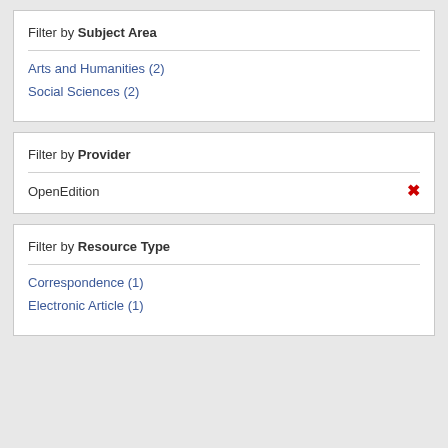Filter by Subject Area
Arts and Humanities (2)
Social Sciences (2)
Filter by Provider
OpenEdition ✕
Filter by Resource Type
Correspondence (1)